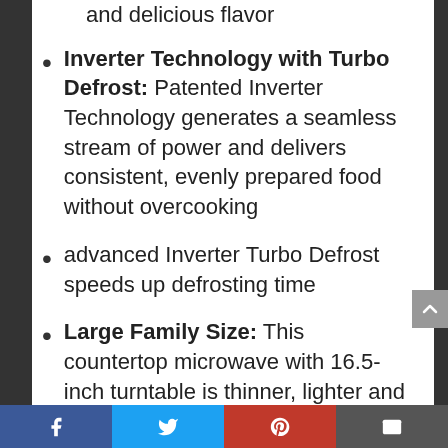and delicious flavor
Inverter Technology with Turbo Defrost: Patented Inverter Technology generates a seamless stream of power and delivers consistent, evenly prepared food without overcooking
advanced Inverter Turbo Defrost speeds up defrosting time
Large Family Size: This countertop microwave with 16.5-inch turntable is thinner, lighter and more efficient, allowing you to devote less space to electronics and more